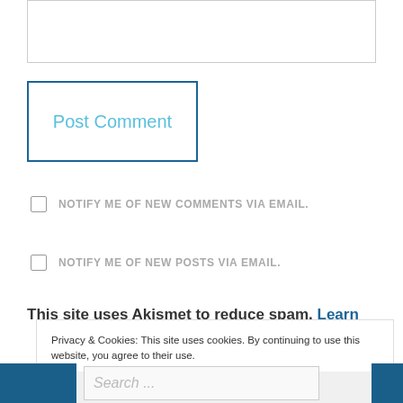[Figure (screenshot): Text input textarea box (empty, with border)]
Post Comment
NOTIFY ME OF NEW COMMENTS VIA EMAIL.
NOTIFY ME OF NEW POSTS VIA EMAIL.
This site uses Akismet to reduce spam. Learn how...
Privacy & Cookies: This site uses cookies. By continuing to use this website, you agree to their use.
To find out more, including how to control cookies, see here: Cookie Policy
Close and accept
Search ...